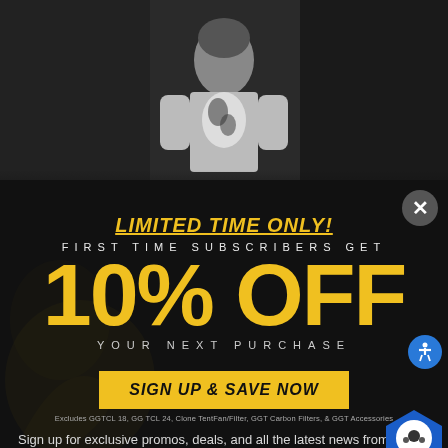[Figure (photo): Dark background photo showing a person wearing a black and white graphic t-shirt with a dragon/ornate design, dimly lit]
LIMITED TIME ONLY!
FIRST TIME SUBSCRIBERS GET
10% OFF
YOUR NEXT PURCHASE
SIGN UP & SAVE NOW
Excludes GGTCL 18, GG TCL 24, Clone TentFan/Filter, GGT Carbon Filters, & GGT Accessories
Sign up for exclusive promos, deals, and all the latest news from Gorilla Grow Tent!
*By completing this form you are signing up to receive our emails and can un subscribe at a...